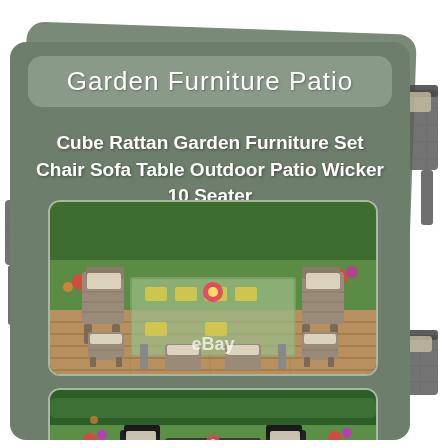Garden Furniture Patio
Cube Rattan Garden Furniture Set Chair Sofa Table Outdoor Patio Wicker 10 Seater
[Figure (photo): Outdoor cube rattan garden furniture set with chairs and stools arranged around a rectangular table on a wooden deck, green garden background, with eBay watermark]
[Figure (photo): Similar rattan garden furniture set in dark/black color, showing chairs around a table in a garden setting with green hedge background]